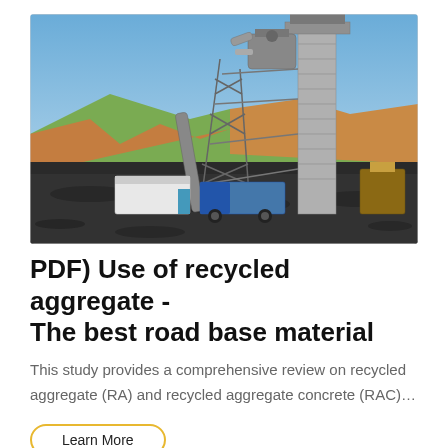[Figure (photo): Industrial asphalt or aggregate processing plant with tall steel tower structure, pipes, scaffolding, and conveyor systems. Set against a blue sky with excavated hillside and gravel in the foreground.]
PDF) Use of recycled aggregate - The best road base material
This study provides a comprehensive review on recycled aggregate (RA) and recycled aggregate concrete (RAC)…
Learn More